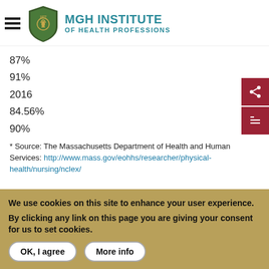MGH INSTITUTE OF HEALTH PROFESSIONS
87%
91%
2016
84.56%
90%
* Source: The Massachusetts Department of Health and Human Services: http://www.mass.gov/eohhs/researcher/physical-health/nursing/nclex/
We use cookies on this site to enhance your user experience. By clicking any link on this page you are giving your consent for us to set cookies.